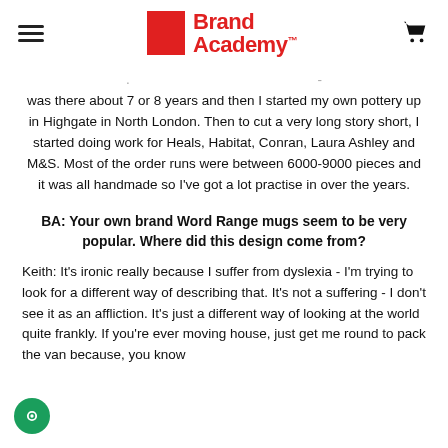Brand Academy
was there about 7 or 8 years and then I started my own pottery up in Highgate in North London. Then to cut a very long story short, I started doing work for Heals, Habitat, Conran, Laura Ashley and M&S. Most of the order runs were between 6000-9000 pieces and it was all handmade so I've got a lot practise in over the years.
BA: Your own brand Word Range mugs seem to be very popular. Where did this design come from?
Keith: It's ironic really because I suffer from dyslexia - I'm trying to look for a different way of describing that. It's not a suffering - I don't see it as an affliction. It's just a different way of looking at the world quite frankly. If you're ever moving house, just get me round to pack the van because, you know